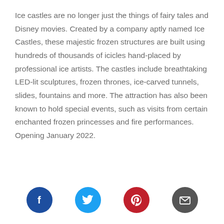Ice castles are no longer just the things of fairy tales and Disney movies. Created by a company aptly named Ice Castles, these majestic frozen structures are built using hundreds of thousands of icicles hand-placed by professional ice artists. The castles include breathtaking LED-lit sculptures, frozen thrones, ice-carved tunnels, slides, fountains and more. The attraction has also been known to hold special events, such as visits from certain enchanted frozen princesses and fire performances. Opening January 2022.
[Figure (infographic): Row of four social media share buttons: Facebook (blue circle with f), Twitter (cyan circle with bird), Pinterest (red circle with p), Email (dark gray circle with envelope)]